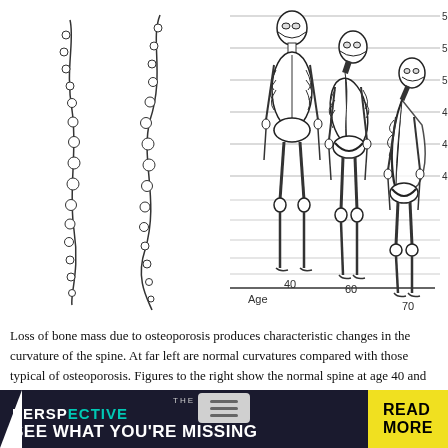[Figure (illustration): Medical illustration showing osteoporosis effects on the spine and posture. Left side shows two spine diagrams: one normal and one with osteoporotic curvature. Right side shows three skeletal figures of a person aging from 40 to 60 to 70 years, each progressively more stooped, set against a height chart ranging from 4'3" to 5'6". Age labels 40, 60, 70 appear below the figures.]
Loss of bone mass due to osteoporosis produces characteristic changes in the curvature of the spine. At far left are normal curvatures compared with those typical of osteoporosis. Figures to the right show the normal spine at age 40 and osteoporotic changes at 60 and 70 years of age. As shown, these changes bring about a loss of as much as 6 to 9 in height. and the so-called dowager's
[Figure (other): Advertisement banner for 'The Perspective' publication with tagline 'SEE WHAT YOU'RE MISSING' and a 'READ MORE' call-to-action button in yellow.]